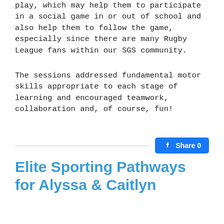play, which may help them to participate in a social game in or out of school and also help them to follow the game, especially since there are many Rugby League fans within our SGS community.
The sessions addressed fundamental motor skills appropriate to each stage of learning and encouraged teamwork, collaboration and, of course, fun!
Share 0
Elite Sporting Pathways for Alyssa & Caitlyn
nrlCaitlyn Etheridge (Year 12, SGS) made St George Dragons Tarsha Gale NRL train-on squad last week. Alyssa Mollema (Year 12,...
Tue Nov 2